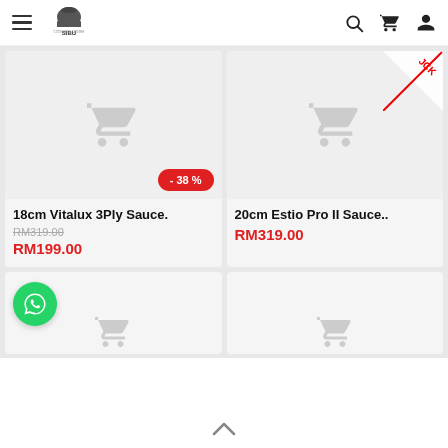[Figure (logo): SIBU Cookware Centre logo with chef hat icon]
[Figure (screenshot): Product card: 18cm Vitalux 3Ply Sauce. with cart icon, -38% discount badge, original price RM319.00, sale price RM199.00]
[Figure (screenshot): Product card: 20cm Estio Pro II Sauce.. with cart icon, JCK brand badge corner, price RM319.00]
[Figure (screenshot): Partial product card bottom row left with WhatsApp chat button overlay and cart icon]
[Figure (screenshot): Partial product card bottom row right with cart icon]